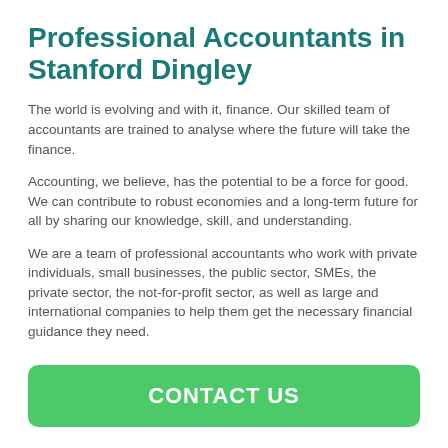Professional Accountants in Stanford Dingley
The world is evolving and with it, finance. Our skilled team of accountants are trained to analyse where the future will take the finance.
Accounting, we believe, has the potential to be a force for good. We can contribute to robust economies and a long-term future for all by sharing our knowledge, skill, and understanding.
We are a team of professional accountants who work with private individuals, small businesses, the public sector, SMEs, the private sector, the not-for-profit sector, as well as large and international companies to help them get the necessary financial guidance they need.
CONTACT US